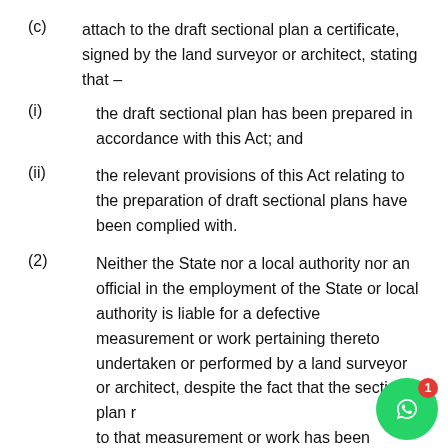(c)    attach to the draft sectional plan a certificate, signed by the land surveyor or architect, stating that –
(i)    the draft sectional plan has been prepared in accordance with this Act; and
(ii)    the relevant provisions of this Act relating to the preparation of draft sectional plans have been complied with.
(2)    Neither the State nor a local authority nor an official in the employment of the State or local authority is liable for a defective measurement or work pertaining thereto undertaken or performed by a land surveyor or architect, despite the fact that the sectional plan r... to that measurement or work has been approved by Surveyor-General or local authority, or accepted for...